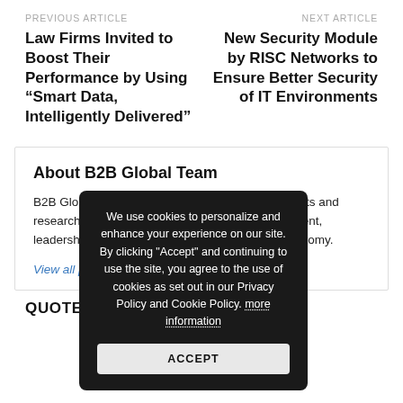PREVIOUS ARTICLE
Law Firms Invited to Boost Their Performance by Using “Smart Data, Intelligently Delivered”
NEXT ARTICLE
New Security Module by RISC Networks to Ensure Better Security of IT Environments
About B2B Global Team
B2B Global Team is a well-known team of journalists and researchers covering the issues of B2B management, leadership and relations in different sectors of economy.
View all posts by B2B Global Team
[Figure (screenshot): Cookie consent popup overlay with dark background. Text reads: We use cookies to personalize and enhance your experience on our site. By clicking "Accept" and continuing to use the site, you agree to the use of cookies as set out in our Privacy Policy and Cookie Policy. more information. Button: ACCEPT]
QUOTE OF THE DAY